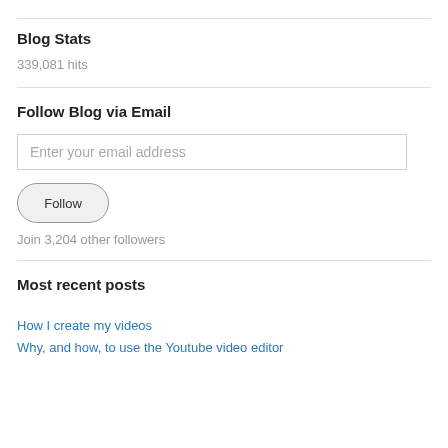Blog Stats
339,081 hits
Follow Blog via Email
Enter your email address
Follow
Join 3,204 other followers
Most recent posts
How I create my videos
Why, and how, to use the Youtube video editor